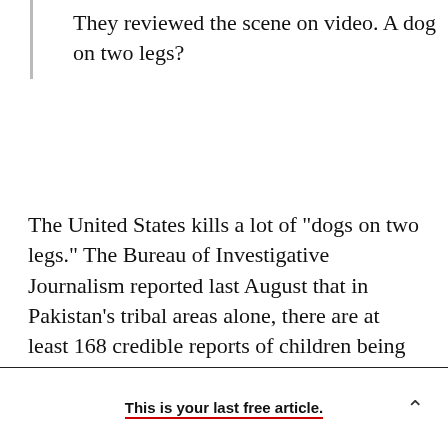They reviewed the scene on video. A dog on two legs?
The United States kills a lot of "dogs on two legs." The Bureau of Investigative Journalism reported last August that in Pakistan's tribal areas alone, there are at least 168 credible reports of children being killed in drone strikes. Presidents Bush and Obama have actively prevented human-rights observers from accessing full casualty data from programs that remain officially secret, so there is no
This is your last free article.